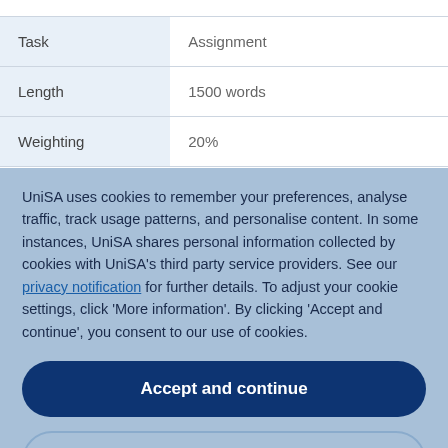|  |  |
| --- | --- |
| Task | Assignment |
| Length | 1500 words |
| Weighting | 20% |
UniSA uses cookies to remember your preferences, analyse traffic, track usage patterns, and personalise content. In some instances, UniSA shares personal information collected by cookies with UniSA's third party service providers. See our privacy notification for further details. To adjust your cookie settings, click 'More information'. By clicking 'Accept and continue', you consent to our use of cookies.
Accept and continue
More information